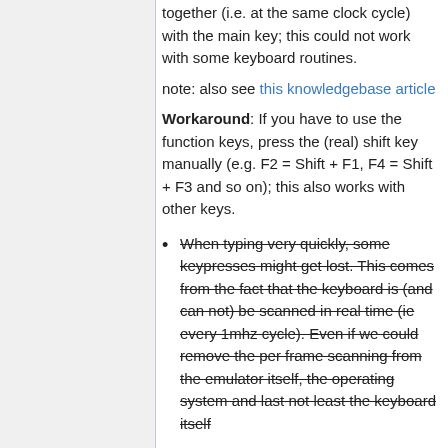together (i.e. at the same clock cycle) with the main key; this could not work with some keyboard routines.
note: also see this knowledgebase article
Workaround: If you have to use the function keys, press the (real) shift key manually (e.g. F2 = Shift + F1, F4 = Shift + F3 and so on); this also works with other keys.
When typing very quickly, some keypresses might get lost. This comes from the fact that the keyboard is (and can not) be scanned in real time (ie every 1mhz cycle). Even if we could remove the per frame scanning from the emulator itself, the operating system and last not least the keyboard itself